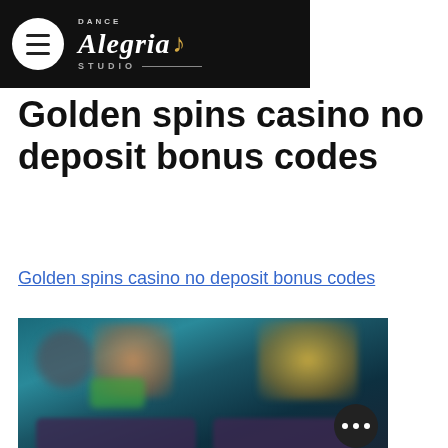Dance Alegria Studio
Golden spins casino no deposit bonus codes
Golden spins casino no deposit bonus codes
[Figure (screenshot): Blurred screenshot of a casino game lobby interface with colorful characters and game thumbnails on a dark background, with a three-dot menu button in the bottom right corner.]